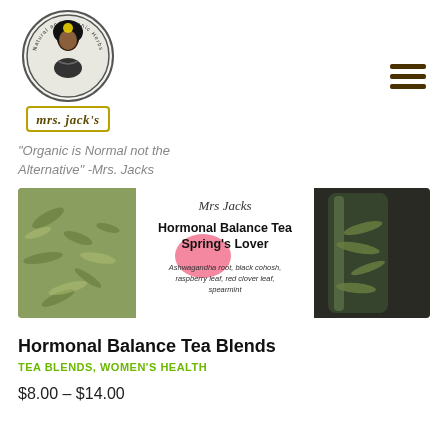[Figure (logo): Mrs. Jack's Natural and Organic Herbs logo — circular logo with a woman's portrait, text ring reading 'Natural and Organic Herbs' around the border, and a rectangular label below reading 'mrs. jack's' in italic serif font with gold border]
"Organic is Normal not the Alternative" -Mrs. Jacks
[Figure (photo): Product photo showing Hormonal Balance Tea Spring's Lover tea blend label with herbs visible. Label text: Mrs Jacks, Hormonal Balance Tea, Spring's Lover, Ashwagandha root, black cohosh, raspberry leaf, red clover leaf, spearmint. Pink heart design on label. Loose dried herbs visible in jars on left and right.]
Hormonal Balance Tea Blends
TEA BLENDS, WOMEN'S HEALTH
$8.00 – $14.00